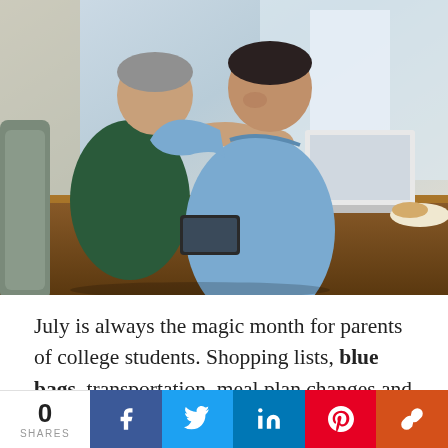[Figure (photo): A father and teenage son hugging at a table with a laptop and food in the background, an indoor home setting]
July is always the magic month for parents of college students. Shopping lists, blue bags, transportation, meal plan changes and more usually happen now for returning college
0 SHARES  [Facebook] [Twitter] [LinkedIn] [Pinterest] [Link]